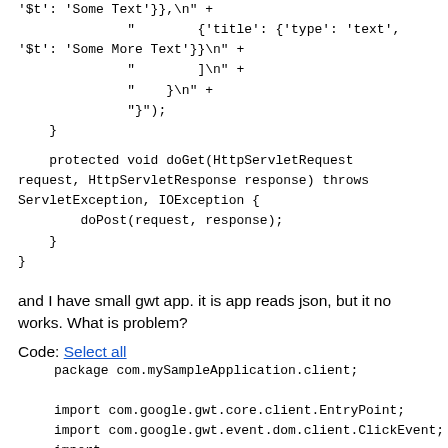'$t': 'Some Text'}},\n" +
"        {'title': {'type': 'text',
'$t': 'Some More Text'}}\n" +
"        ]\n" +
"    }\n" +
"}"                );
    }

    protected void doGet(HttpServletRequest
request, HttpServletResponse response) throws
ServletException, IOException {
        doPost(request, response);
    }
}
and I have small gwt app. it is app reads json, but it no works. What is problem?
Code: Select all
package com.mySampleApplication.client;

import com.google.gwt.core.client.EntryPoint;
import com.google.gwt.event.dom.client.ClickEvent;
import